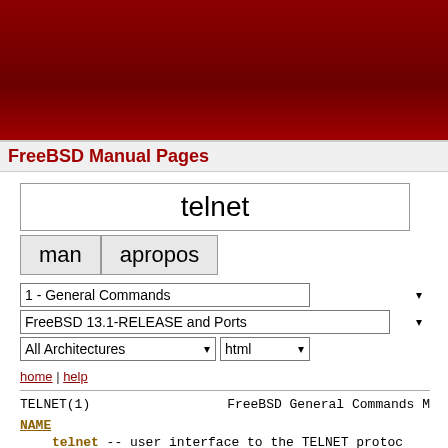FreeBSD Manual Pages
[Figure (screenshot): Search form with text input containing 'telnet', man and apropos buttons, dropdowns for section, OS version, architecture, and output format]
home | help
TELNET(1)                              FreeBSD General Commands M
NAME
telnet -- user interface to the TELNET protoc